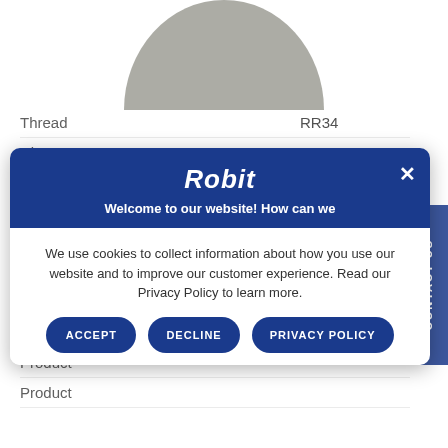[Figure (photo): Top portion of a circular drill bit or button bit shown in gray metallic color, cropped at bottom of semicircle.]
| Property | Value |
| --- | --- |
| Thread | RR34 |
| Diameter (mm) | 48 |
| Diameter (in) | 1 7/8" |
| Gauge (∠) | 35° |
| Buttons (center) (No.) (mm) | 4 x 9 |
| Buttons (gauge) (No.) (mm) | 8 x 10 |
| Flushing (center) (No.) | 5 |
| Flushing |  |
| Product |  |
| Product |  |
We use cookies to collect information about how you use our website and to improve our customer experience. Read our Privacy Policy to learn more.
[Figure (screenshot): Cookie consent popup with Robit branding. Contains title 'Robit', subtitle 'Welcome to our website! How can we', cookie policy text, and three buttons: ACCEPT, DECLINE, PRIVACY POLICY.]